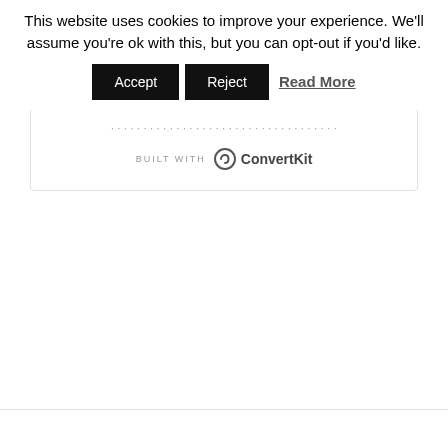This website uses cookies to improve your experience. We'll assume you're ok with this, but you can opt-out if you'd like.
Accept | Reject | Read More
[Figure (other): ConvertKit logo with 'BUILT WITH' label and circular icon]
BUILT WITH ConvertKit